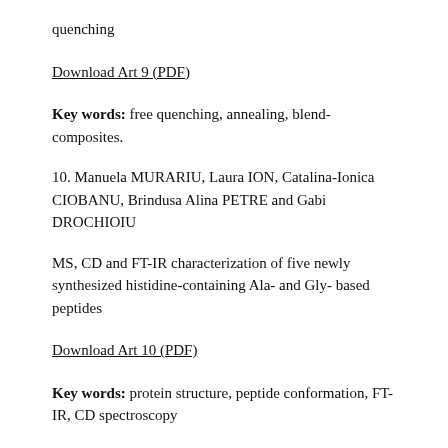quenching
Download Art 9 (PDF)
Key words: free quenching, annealing, blend-composites.
10. Manuela MURARIU, Laura ION, Catalina-Ionica CIOBANU, Brindusa Alina PETRE and Gabi DROCHIOIU
MS, CD and FT-IR characterization of five newly synthesized histidine-containing Ala- and Gly- based peptides
Download Art 10 (PDF)
Key words: protein structure, peptide conformation, FT-IR, CD spectroscopy